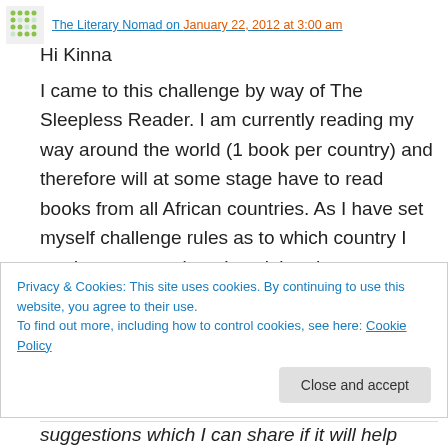The Literary Nomad on January 22, 2012 at 3:00 am
Hi Kinna
I came to this challenge by way of The Sleepless Reader. I am currently reading my way around the world (1 book per country) and therefore will at some stage have to read books from all African countries. As I have set myself challenge rules as to which country I read at any one time, I can't in advance state which countries I will be covering but as I have two African countries
Privacy & Cookies: This site uses cookies. By continuing to use this website, you agree to their use.
To find out more, including how to control cookies, see here: Cookie Policy
suggestions which I can share if it will help